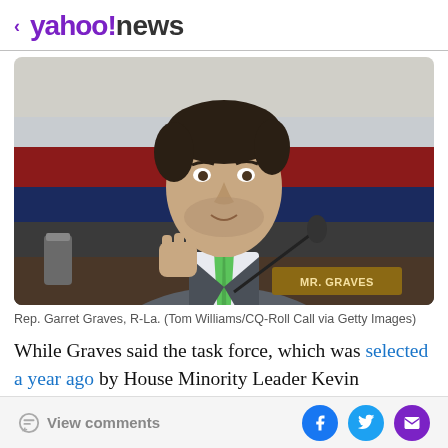< yahoo!news
[Figure (photo): Rep. Garret Graves seated at a congressional hearing desk, wearing a grey suit and green tie, gesturing with his right hand raised in a fist. A nameplate reading 'MR. GRAVES' is visible in the foreground.]
Rep. Garret Graves, R-La. (Tom Williams/CQ-Roll Call via Getty Images)
While Graves said the task force, which was selected a year ago by House Minority Leader Kevin McCarthy, R-
View comments